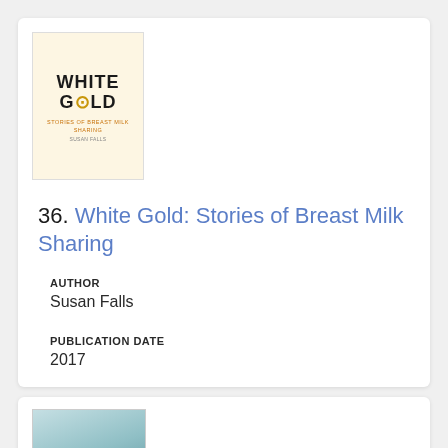[Figure (photo): Book cover of 'White Gold: Stories of Breast Milk Sharing' by Susan Falls. Cream/pale yellow background with bold black text for WHITE GOLD, orange subtitle text, and a gold/orange bullseye circle replacing the O in GOLD.]
36. White Gold: Stories of Breast Milk Sharing
AUTHOR
Susan Falls
PUBLICATION DATE
2017
[Figure (photo): Partial book cover image with light blue/teal tones, showing the lower portion of a book cover for another listing.]